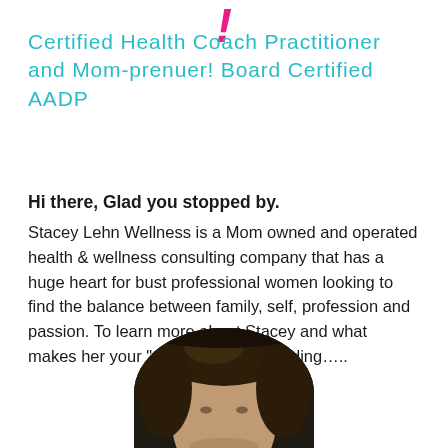!
Certified Health Coach Practitioner and Mom-prenuer! Board Certified AADP
Hi there, Glad you stopped by.
Stacey Lehn Wellness is a Mom owned and operated health & wellness consulting company that has a huge heart for bust professional women looking to find the balance between family, self, profession and passion. To learn more about Stacey and what makes her your "go-to" gal keep reading…..
[Figure (photo): Circular cropped headshot photo of a woman with dark brown hair, shown from the top of the head downward, partially visible at the bottom of the page.]